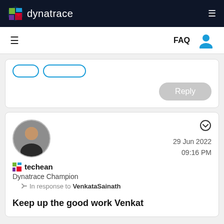dynatrace
FAQ
[Figure (screenshot): Partial card with two outlined buttons and a grey Reply button]
[Figure (photo): Round avatar photo of a man in dark clothing]
techean
Dynatrace Champion
In response to VenkataSainath
29 Jun 2022 09:16 PM
Keep up the good work Venkat